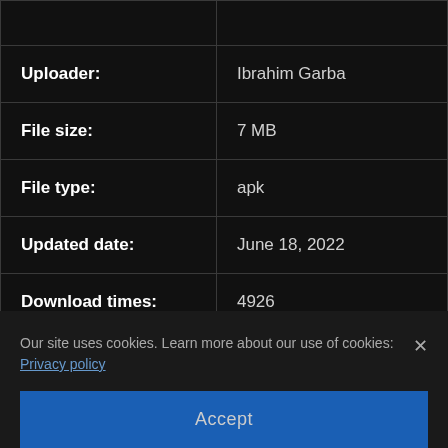| Field | Value |
| --- | --- |
| Uploader: | Ibrahim Garba |
| File size: | 7 MB |
| File type: | apk |
| Updated date: | June 18, 2022 |
| Download times: | 4926 |
Our site uses cookies. Learn more about our use of cookies: Privacy policy
Accept